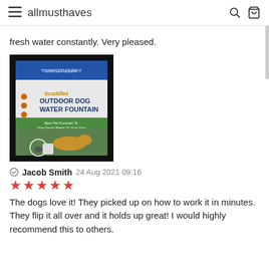allmusthaves
fresh water constantly. Very pleased.
[Figure (photo): Product photo of Scuddles Outdoor Dog Water Fountain box, showing a golden retriever using the fountain on grass, with orange bullet points and product branding on the packaging.]
Jacob Smith 24 Aug 2021 09:16
★★★★★
The dogs love it! They picked up on how to work it in minutes. They flip it all over and it holds up great! I would highly recommend this to others.